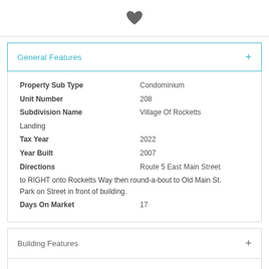[Figure (illustration): Dark gray heart icon centered at top of page]
General Features
| Property Sub Type | Condominium |
| Unit Number | 208 |
| Subdivision Name | Village Of Rocketts Landing |
| Tax Year | 2022 |
| Year Built | 2007 |
| Directions | Route 5 East Main Street to RIGHT onto Rocketts Way then round-a-bout to Old Main St. Park on Street in front of building. |
| Days On Market | 17 |
Building Features
Property Features